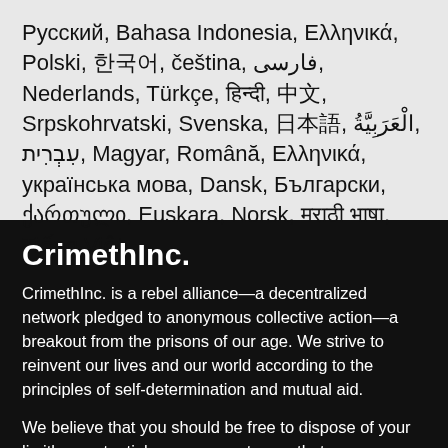Русский, Bahasa Indonesia, Ελληνικά, Polski, 한국어, čeština, فارسی, Nederlands, Türkçe, हिन्दी, 中文, Srpskohrvatski, Svenska, 日本語, ‏العَرَبِيَّةُ‎, עִבְרִית, Magyar, Română, Ελληνικά, українська мова, Dansk, Български, ქართული, Euskara, Norsk, मराठी भाषा, Tiếng Việt
CrimethInc.
CrimethInc. is a rebel alliance—a decentralized network pledged to anonymous collective action—a breakout from the prisons of our age. We strive to reinvent our lives and our world according to the principles of self-determination and mutual aid.
We believe that you should be free to dispose of your limitless potential on your own terms: that no government, market, or ideology should be able to dictate what your life can be. If you agree, let's do something